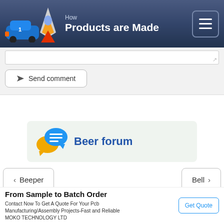How Products are Made
Send comment
[Figure (logo): Beer forum logo with chat bubbles — orange and blue speech bubbles with lines]
Beer forum
< Beeper
Bell >
Terms & Privacy • © 2022 Advameg, Inc.
From Sample to Batch Order
Contact Now To Get A Quote For Your Pcb Manufacturing/Assembly Projects-Fast and Reliable
MOKO TECHNOLOGY LTD
Get Quote